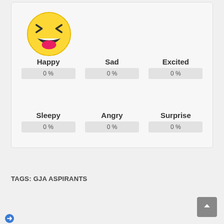[Figure (illustration): Laughing emoji face with closed squinting eyes and open mouth showing tongue]
Happy
0 %
Sad
0 %
Excited
0 %
Sleepy
0 %
Angry
0 %
Surprise
0 %
TAGS: GJA ASPIRANTS